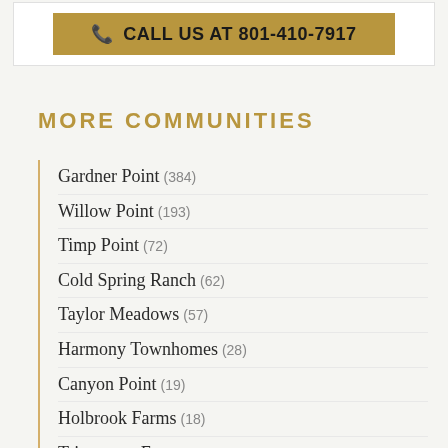[Figure (other): Call us banner with gold background, phone icon, and text CALL US AT 801-410-7917]
MORE COMMUNITIES
Gardner Point (384)
Willow Point (193)
Timp Point (72)
Cold Spring Ranch (62)
Taylor Meadows (57)
Harmony Townhomes (28)
Canyon Point (19)
Holbrook Farms (18)
Trinnaman Farms (15)
Lehi Lakeview (12)